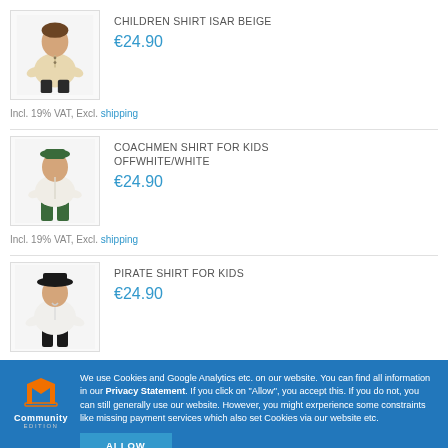[Figure (photo): Child wearing a beige historical shirt]
CHILDREN SHIRT ISAR BEIGE
€24.90
Incl. 19% VAT, Excl. shipping
[Figure (photo): Child wearing off-white/white coachmen shirt with green pants]
COACHMEN SHIRT FOR KIDS OFFWHITE/WHITE
€24.90
Incl. 19% VAT, Excl. shipping
[Figure (photo): Child wearing a white pirate shirt with black hat and pants]
PIRATE SHIRT FOR KIDS
€24.90
We use Cookies and Google Analytics etc. on our website. You can find all information in our Privacy Statement. If you click on "Allow", you accept this. If you do not, you can still generally use our website. However, you might exrperience some constraints like missing payment services which also set Cookies via our website etc.
ALLOW